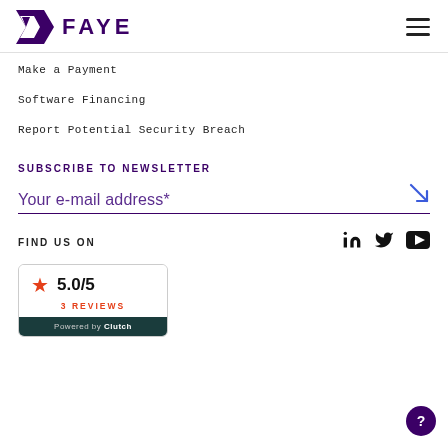[Figure (logo): Faye logo with purple arrow/flag icon and bold purple FAYE text]
Make a Payment
Software Financing
Report Potential Security Breach
SUBSCRIBE TO NEWSLETTER
Your e-mail address*
FIND US ON
[Figure (logo): Clutch rating card showing 5.0/5 with red star, 3 REVIEWS, Powered by Clutch footer]
?